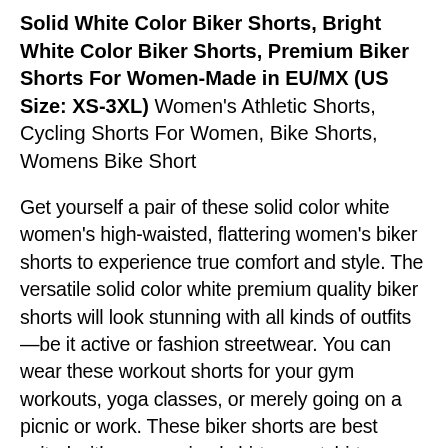Solid White Color Biker Shorts, Bright White Color Biker Shorts, Premium Biker Shorts For Women-Made in EU/MX (US Size: XS-3XL) Women's Athletic Shorts, Cycling Shorts For Women, Bike Shorts, Womens Bike Short
Get yourself a pair of these solid color white women's high-waisted, flattering women's biker shorts to experience true comfort and style. The versatile solid color white premium quality biker shorts will look stunning with all kinds of outfits—be it active or fashion streetwear. You can wear these workout shorts for your gym workouts, yoga classes, or merely going on a picnic or work. These biker shorts are best suited with an oversized shirt, sweatshirt, blouse, and more. These biker shorts are...